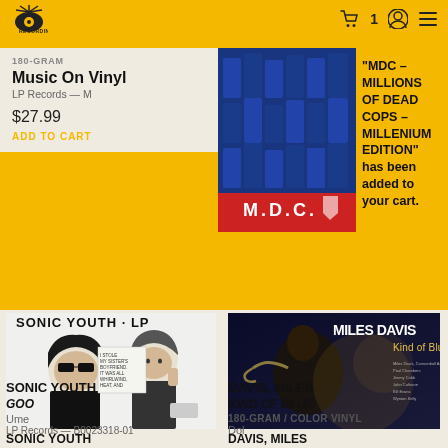RECORDINGS header with logo, cart icon (1 item), account icon, menu icon
180-GRAM
Music On Vinyl
LP Records — M
$27.99
ADD TO CART
"MDC – MILLIONS OF DEAD COPS – MILLENIUM EDITION" has been added to your cart.
[Figure (photo): MDC album cover - blue graphic design with M.D.C. text at bottom]
[Figure (photo): Sonic Youth - Goo album cover black and white illustration of two people]
SONIC YOUTH
GOO
Ume
LP Records — B0023318-01
[Figure (photo): Miles Davis - Kind of Blue album cover showing Miles Davis in dark blue tones]
DAVIS, MILES
KIND OF BLUE
180-GRAM / COLOR VINYL
Dol